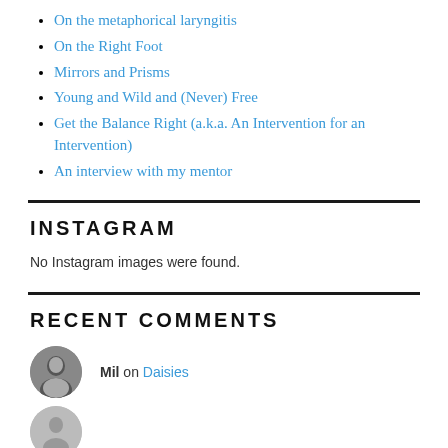On the metaphorical laryngitis
On the Right Foot
Mirrors and Prisms
Young and Wild and (Never) Free
Get the Balance Right (a.k.a. An Intervention for an Intervention)
An interview with my mentor
INSTAGRAM
No Instagram images were found.
RECENT COMMENTS
Mil on Daisies